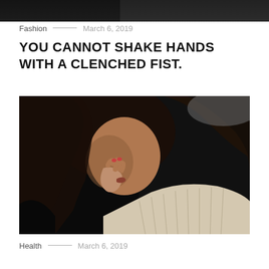[Figure (photo): Top portion of a dark moody photograph, cropped at the top of the page]
Fashion — March 6, 2019
YOU CANNOT SHAKE HANDS WITH A CLENCHED FIST.
[Figure (photo): Close-up photo of a young woman with long dark hair, wearing a cream/beige knit sweater, holding her hand near her mouth, dark moody background]
Health — March 6, 2019